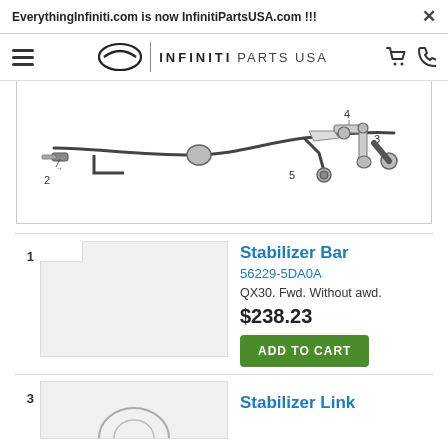EverythingInfiniti.com is now InfinitiPartsUSA.com !!!
[Figure (logo): Infiniti Parts USA logo with hamburger menu, Infiniti circular logo, brand name, cart and phone icons]
[Figure (engineering-diagram): Technical exploded diagram of stabilizer bar assembly with numbered callouts 2, 3, 4, 5 pointing to various components including the stabilizer bar, links, and bolts]
1
[Figure (photo): Product image placeholder for Stabilizer Bar (light gray box)]
Stabilizer Bar
56229-5DA0A
QX30. Fwd. Without awd.
$238.23
ADD TO CART
3
[Figure (photo): Partial product image for Stabilizer Link (bottom cut off)]
Stabilizer Link